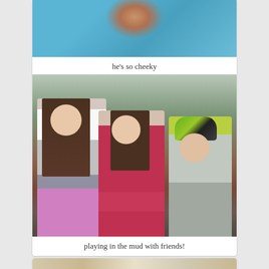[Figure (photo): Close-up partial photo of a child's face/cheek area against a blue background, cut off at top]
he's so cheeky
[Figure (photo): Three children posing together outdoors in a wooded area. Left child is tall with long brown hair wearing white top and silver vest with purple pants. Middle child wears a red shirt. Right child wears a green bike helmet and gray jacket.]
playing in the mud with friends!
[Figure (photo): Partial view of a third photo card at the bottom of the page, cut off]